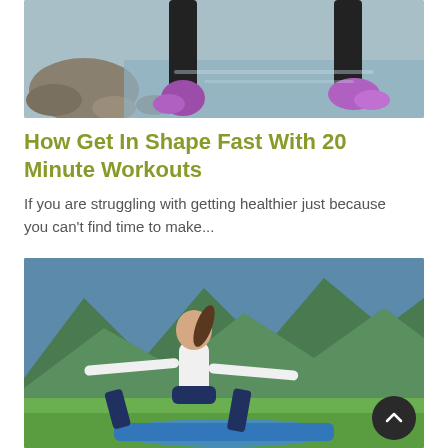[Figure (photo): Close-up of a person's legs and feet wearing purple/pink sneakers doing a lunge or stretch pose on rocky ground near water]
How Get In Shape Fast With 20 Minute Workouts
If you are struggling with getting healthier just because you can't find time to make...
[Figure (photo): Woman in white top and navy blue yoga pants doing a warrior pose on a blue yoga mat on a grassy hilltop with green mountains in the background]